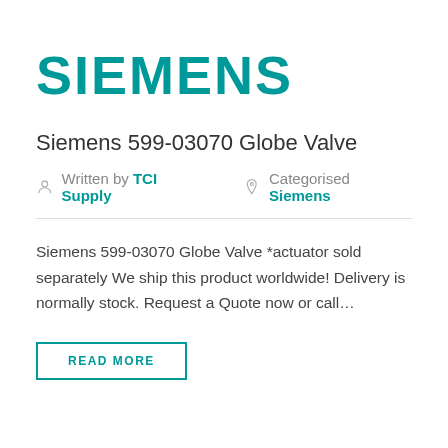[Figure (logo): Siemens logo in teal/green color with bold text]
Siemens 599-03070 Globe Valve
Written by TCI Supply   Categorised Siemens
Siemens 599-03070 Globe Valve *actuator sold separately We ship this product worldwide! Delivery is normally stock. Request a Quote now or call...
READ MORE